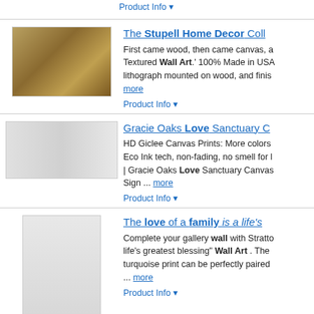Product Info ▾
[Figure (photo): Photo of a cheetah resting, wall art product]
The Stupell Home Decor Coll
First came wood, then came canvas, a Textured Wall Art.' 100% Made in USA lithograph mounted on wood, and finis more
Product Info ▾
[Figure (photo): Multi-panel canvas prints showing Love Sanctuary wall art]
Gracie Oaks Love Sanctuary C
HD Giclee Canvas Prints: More colors Eco Ink tech, non-fading, no smell for | Gracie Oaks Love Sanctuary Canvas Sign ... more
Product Info ▾
[Figure (photo): Photo of a love/family inspirational wall art sign]
The love of a family is a life's
Complete your gallery wall with Stratto life's greatest blessing" Wall Art . The turquoise print can be perfectly paired ... more
Product Info ▾
[Figure (photo): Trinx Black & White Butterfly canvas print shown in room setting]
Trinx Black & White Butterfly F
High quality printed canvas stretched a frames. HD Photo Prints on Quality Ca Canvas Prints is water-proof, moisture more